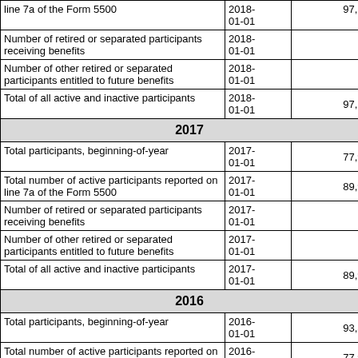| Description | Date | Value |
| --- | --- | --- |
| line 7a of the Form 5500 | 2018-01-01 | 97,168 |
| Number of retired or separated participants receiving benefits | 2018-01-01 | 0 |
| Number of other retired or separated participants entitled to future benefits | 2018-01-01 | 0 |
| Total of all active and inactive participants | 2018-01-01 | 97,168 |
| 2017 |  |  |
| Total participants, beginning-of-year | 2017-01-01 | 77,926 |
| Total number of active participants reported on line 7a of the Form 5500 | 2017-01-01 | 89,990 |
| Number of retired or separated participants receiving benefits | 2017-01-01 | 0 |
| Number of other retired or separated participants entitled to future benefits | 2017-01-01 | 0 |
| Total of all active and inactive participants | 2017-01-01 | 89,990 |
| 2016 |  |  |
| Total participants, beginning-of-year | 2016-01-01 | 93,568 |
| Total number of active participants reported on line 7a of the Form 5500 | 2016-01-01 | 77,926 |
| Number of retired or separated participants receiving benefits | 2016-01-01 | 0 |
| Number of other retired or separated participants entitled to future benefits | 2016-01-01 | 0 |
| Total of all active and inactive participants | 2016-01-01 | 77,926 |